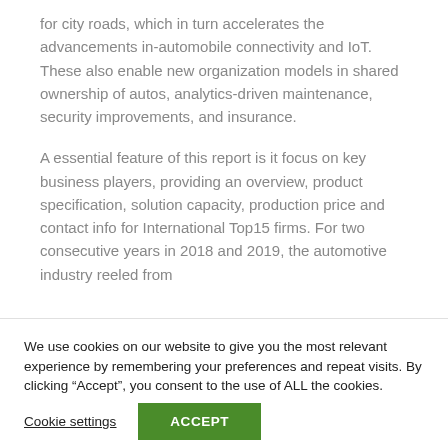for city roads, which in turn accelerates the advancements in-automobile connectivity and IoT. These also enable new organization models in shared ownership of autos, analytics-driven maintenance, security improvements, and insurance.
A essential feature of this report is it focus on key business players, providing an overview, product specification, solution capacity, production price and contact info for International Top15 firms. For two consecutive years in 2018 and 2019, the automotive industry reeled from
We use cookies on our website to give you the most relevant experience by remembering your preferences and repeat visits. By clicking “Accept”, you consent to the use of ALL the cookies.
Cookie settings
ACCEPT